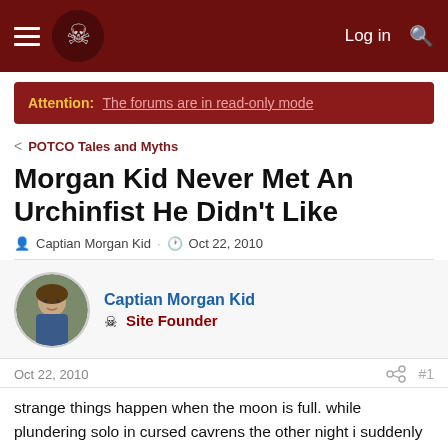Log in  [Search icon]
Attention: The forums are in read-only mode
< POTCO Tales and Myths
Morgan Kid Never Met An Urchinfist He Didn't Like
Captian Morgan Kid · Oct 22, 2010
Captian Morgan Kid
Site Founder
Oct 22, 2010  #1
strange things happen when the moon is full. while plundering solo in cursed cavrens the other night i suddenly turned into an undead pirate. i ran up to an urchinfist who i was going to attack next. well he was just standing there, i think he wanted to be my friend. maybe he thought i was one of them. i didn't have it in my heart to kill a nice guy like that ( see im really just an old softy)